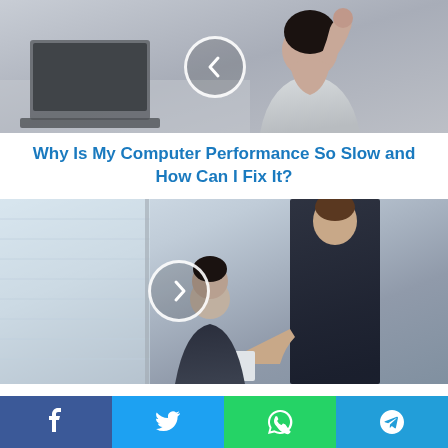[Figure (photo): Person hunched over at a desk appearing frustrated, with a laptop nearby and a circular navigation arrow overlay pointing left]
Why Is My Computer Performance So Slow and How Can I Fix It?
[Figure (photo): Two business people in a meeting, one standing and one seated, exchanging a document, with a circular navigation arrow overlay pointing right]
Receiving a Bonus at Work? Here Are The Best
Facebook Twitter WhatsApp Telegram share buttons